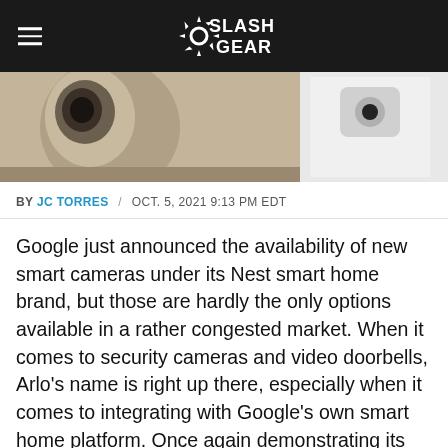SlashGear
[Figure (photo): Partial view of Nest or Arlo smart camera hardware against a beige/white background]
BY JC TORRES / OCT. 5, 2021 9:13 PM EDT
Google just announced the availability of new smart cameras under its Nest smart home brand, but those are hardly the only options available in a rather congested market. When it comes to security cameras and video doorbells, Arlo's name is right up there, especially when it comes to integrating with Google's own smart home platform. Once again demonstrating its close ties with Google, Arlo just updated its Motion Detection system to allow Nest Hub and other Google Assistant speakers or devices to audibly notify